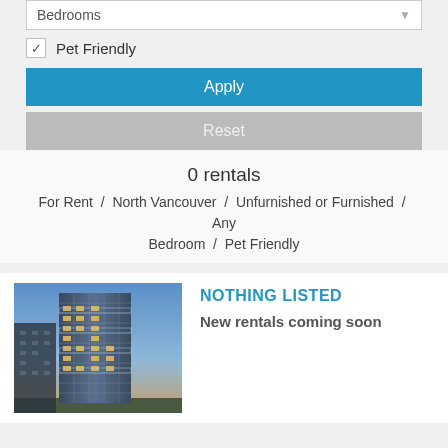Bedrooms
Pet Friendly (checked)
Apply
Reset
0 rentals
For Rent / North Vancouver / Unfurnished or Furnished / Any Bedroom / Pet Friendly
[Figure (photo): Tall glass residential apartment building photographed at dusk with illuminated windows and blue sky background]
NOTHING LISTED
New rentals coming soon